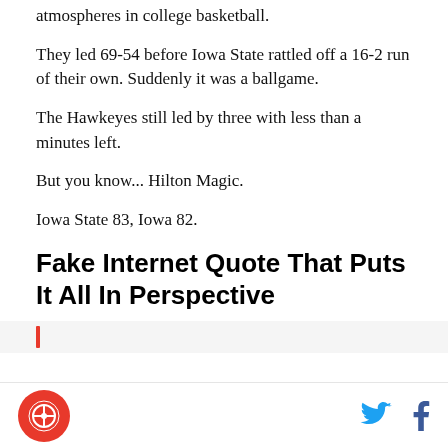atmospheres in college basketball.
They led 69-54 before Iowa State rattled off a 16-2 run of their own. Suddenly it was a ballgame.
The Hawkeyes still led by three with less than a minutes left.
But you know... Hilton Magic.
Iowa State 83, Iowa 82.
Fake Internet Quote That Puts It All In Perspective
[Figure (other): Red vertical bar indicating start of a pull quote section, on light gray background]
[Figure (logo): Circular red logo with a stylized icon inside]
[Figure (other): Twitter bird icon in blue and Facebook f icon in dark blue, social sharing buttons]